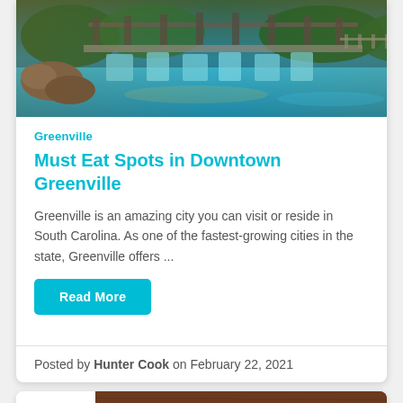[Figure (photo): Aerial/scenic photo of Greenville waterfall and bridge area with colorful lighting]
Greenville
Must Eat Spots in Downtown Greenville
Greenville is an amazing city you can visit or reside in South Carolina. As one of the fastest-growing cities in the state, Greenville offers ...
Read More
Posted by Hunter Cook on February 22, 2021
[Figure (illustration): Accessibility icon (wheelchair symbol) in a teal circle]
[Figure (photo): Food photo showing a bowl of food on a wooden table, partially visible]